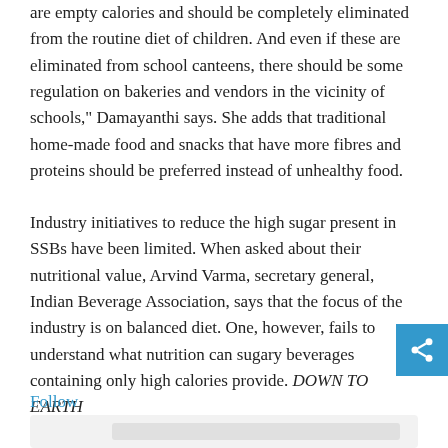are empty calories and should be completely eliminated from the routine diet of children. And even if these are eliminated from school canteens, there should be some regulation on bakeries and vendors in the vicinity of schools," Damayanthi says. She adds that traditional home-made food and snacks that have more fibres and proteins should be preferred instead of unhealthy food.
Industry initiatives to reduce the high sugar present in SSBs have been limited. When asked about their nutritional value, Arvind Varma, secretary general, Indian Beverage Association, says that the focus of the industry is on balanced diet. One, however, fails to understand what nutrition can sugary beverages containing only high calories provide. DOWN TO EARTH
Follow
[Figure (other): Bottom card area with grey background placeholder]